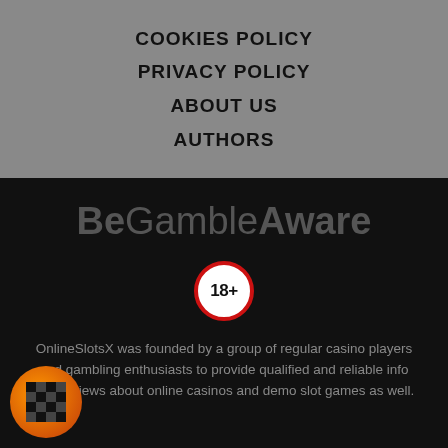COOKIES POLICY
PRIVACY POLICY
ABOUT US
AUTHORS
[Figure (logo): BeGambleAware logo in grey on dark background]
[Figure (other): 18+ age restriction badge — white circle with red border and bold 18+ text]
OnlineSlotsX was founded by a group of regular casino players and gambling enthusiasts to provide qualified and reliable info and reviews about online casinos and demo slot games as well.